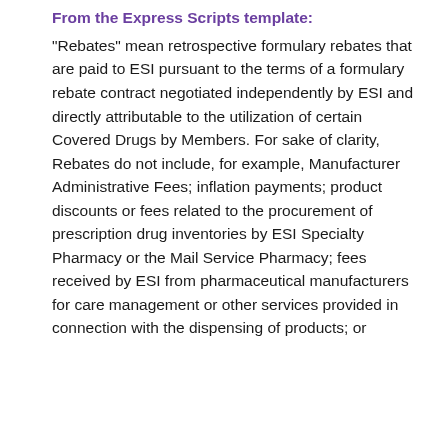From the Express Scripts template:
"Rebates" mean retrospective formulary rebates that are paid to ESI pursuant to the terms of a formulary rebate contract negotiated independently by ESI and directly attributable to the utilization of certain Covered Drugs by Members. For sake of clarity, Rebates do not include, for example, Manufacturer Administrative Fees; inflation payments; product discounts or fees related to the procurement of prescription drug inventories by ESI Specialty Pharmacy or the Mail Service Pharmacy; fees received by ESI from pharmaceutical manufacturers for care management or other services provided in connection with the dispensing of products; or